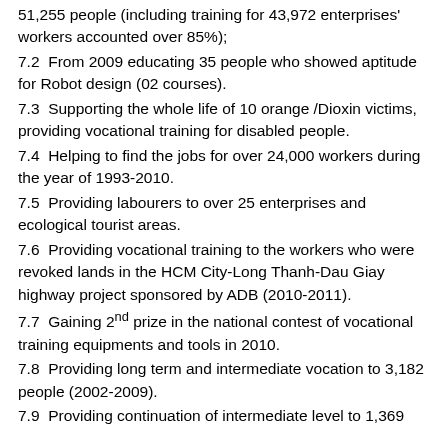51,255 people (including training for 43,972 enterprises' workers accounted over 85%);
7.2  From 2009 educating 35 people who showed aptitude for Robot design (02 courses).
7.3  Supporting the whole life of 10 orange /Dioxin victims, providing vocational training for disabled people.
7.4  Helping to find the jobs for over 24,000 workers during the year of 1993-2010.
7.5  Providing labourers to over 25 enterprises and ecological tourist areas.
7.6  Providing vocational training to the workers who were revoked lands in the HCM City-Long Thanh-Dau Giay highway project sponsored by ADB (2010-2011).
7.7  Gaining 2nd prize in the national contest of vocational training equipments and tools in 2010.
7.8  Providing long term and intermediate vocation to 3,182 people (2002-2009).
7.9  Providing continuation of intermediate level to 1,369...